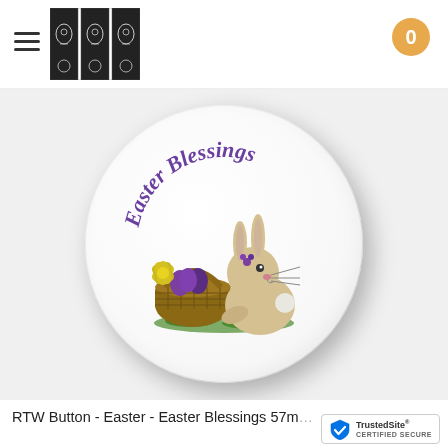Navigation header with hamburger menu, logo, and cart badge showing 0
[Figure (photo): Round pin/button badge showing Easter Blessings text arched at top in purple, with a cartoon bunny rabbit next to an Easter basket filled with purple eggs and yellow flowers, sitting on green grass. The badge is circular with a white background and subtle round shiny finish.]
RTW Button - Easter - Easter Blessings 57m... A$0.00 - A$1.50